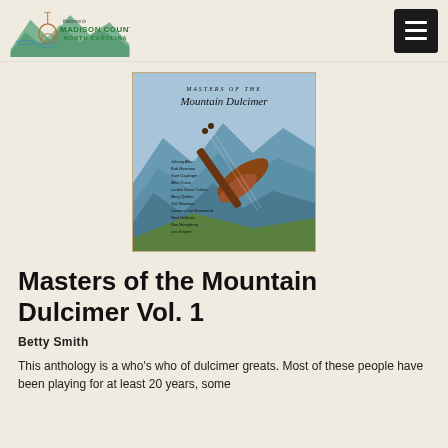Welcome to Madison County North Carolina
[Figure (illustration): Album cover for Masters of the Mountain Dulcimer — a mountain dulcimer instrument photographed against a backdrop of blue mountain ridges; text lists many artist names on the cover]
Masters of the Mountain Dulcimer Vol. 1
Betty Smith
This anthology is a who's who of dulcimer greats. Most of these people have been playing for at least 20 years, some